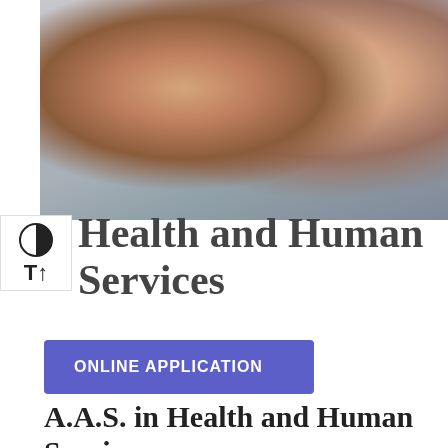[Figure (photo): Two women in conversation — one in a pink shirt facing the camera attentively, the other with blonde hair facing away, hand to her face as if distressed or thinking.]
Health and Human Services
ONLINE APPLICATION
A.A.S. in Health and Human Services